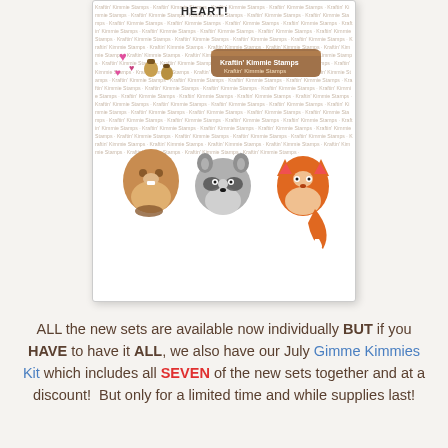[Figure (illustration): Product stamp sheet showing woodland animal characters including a beaver, raccoon, fox, and a sleeping animal on a log, along with decorative elements like hearts, acorns, autumn leaves, a tree stump, and text sentiments reading 'HEART!', 'YOU'RE SO DAM SWEET!', and 'WHAT WOOD I DO WITHOUT YOU?'. Background has repeating watermark text 'Kraftin' Kimmie Stamps'.]
ALL the new sets are available now individually BUT if you HAVE to have it ALL, we also have our July Gimme Kimmies Kit which includes all SEVEN of the new sets together and at a discount! But only for a limited time and while supplies last!